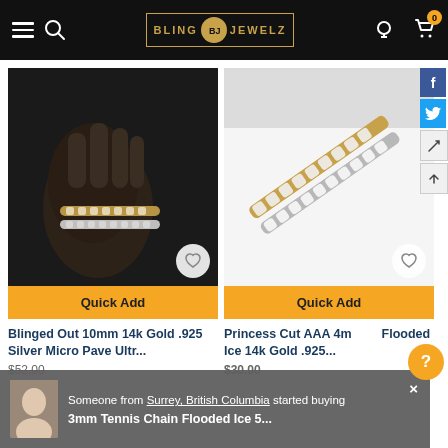Bling Jewelz - Navigation header with logo, search, account, and cart icons
[Figure (photo): Product photo of diamond tennis bracelets worn on a person's wrist, dark background]
Quick Add
Blinged Out 10mm 14k Gold .925 Silver Micro Pave Ultr...
[Figure (photo): Product photo of two tennis bracelets with princess cut diamonds on white background]
Quick Add
Princess Cut AAA 4m... Flooded Ice 14k Gold .925...
Someone from Surrey, British Columbia started buying
3mm Tennis Chain Flooded Ice 5...
$52.00
$30.00